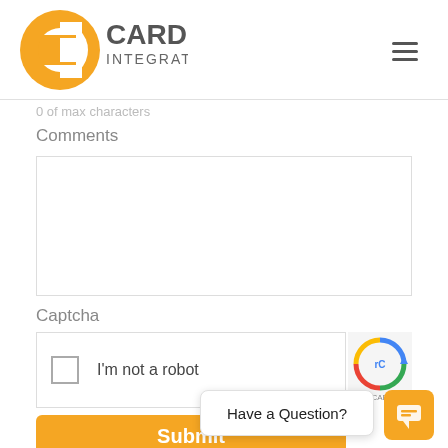[Figure (logo): Cardinal Integrated Systems logo with orange C icon and gray text]
0 of max characters
Comments
Captcha
I'm not a robot
reCAPTCHA
Have a Question?
Submit